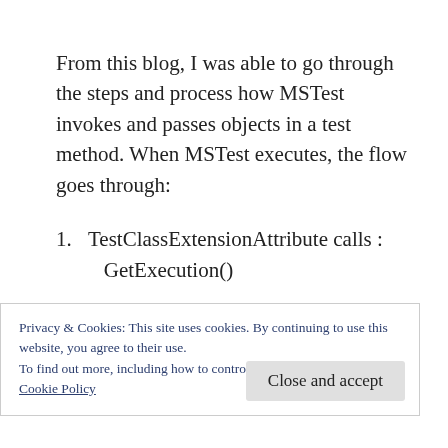From this blog, I was able to go through the steps and process how MSTest invokes and passes objects in a test method. When MSTest executes, the flow goes through:
1. TestClassExtensionAttribute calls : GetExecution()
2. TestExtensionExecution calls : CreateTestMethodInvoker(TestMethodInvo...
Privacy & Cookies: This site uses cookies. By continuing to use this website, you agree to their use.
To find out more, including how to control cookies, see here: Cookie Policy